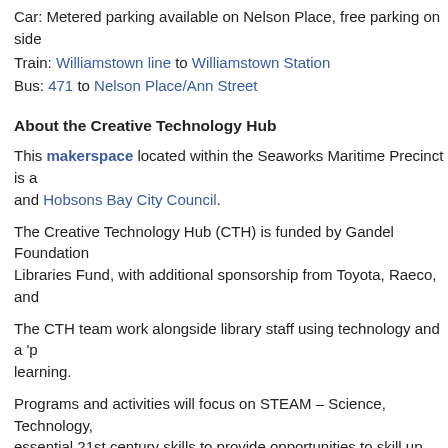Car: Metered parking available on Nelson Place, free parking on side streets.
Train: Williamstown line to Williamstown Station
Bus: 471 to Nelson Place/Ann Street
About the Creative Technology Hub
This makerspace located within the Seaworks Maritime Precinct is a ... and Hobsons Bay City Council.
The Creative Technology Hub (CTH) is funded by Gandel Foundation ... Libraries Fund, with additional sponsorship from Toyota, Raeco, and ...
The CTH team work alongside library staff using technology and a 'p... learning.
Programs and activities will focus on STEAM – Science, Technology, ... essential 21st century skills to provide opportunities to skill up, re-ski... opportunities.
Watch this video to see what we're all about!
Note: Programs at the Creative Technology Hub @ Seaworks are fo...
Check out what CTH programs are coming up in our Eve...